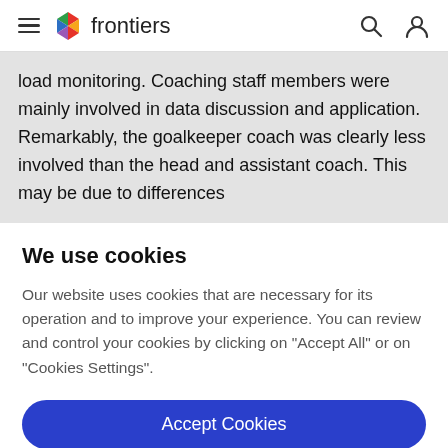frontiers
load monitoring. Coaching staff members were mainly involved in data discussion and application. Remarkably, the goalkeeper coach was clearly less involved than the head and assistant coach. This may be due to differences
We use cookies
Our website uses cookies that are necessary for its operation and to improve your experience. You can review and control your cookies by clicking on "Accept All" or on "Cookies Settings".
Accept Cookies
Cookies Settings